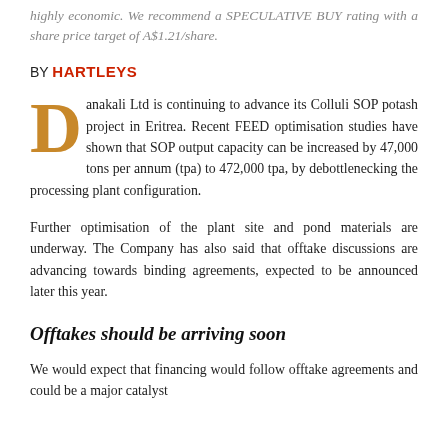highly economic. We recommend a SPECULATIVE BUY rating with a share price target of A$1.21/share.
BY HARTLEYS
Danakali Ltd is continuing to advance its Colluli SOP potash project in Eritrea. Recent FEED optimisation studies have shown that SOP output capacity can be increased by 47,000 tons per annum (tpa) to 472,000 tpa, by debottlenecking the processing plant configuration.
Further optimisation of the plant site and pond materials are underway. The Company has also said that offtake discussions are advancing towards binding agreements, expected to be announced later this year.
Offtakes should be arriving soon
We would expect that financing would follow offtake agreements and could be a major catalyst